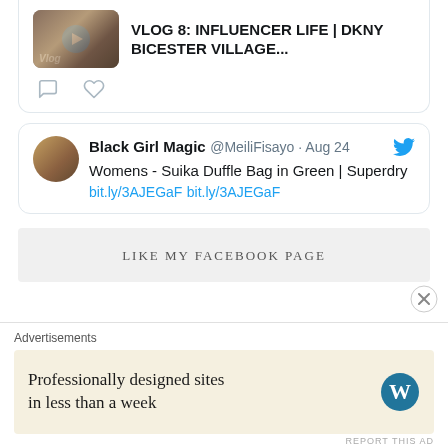[Figure (screenshot): Video thumbnail with play button overlay showing 'Vlog' label]
VLOG 8: INFLUENCER LIFE | DKNY BICESTER VILLAGE...
[Figure (illustration): Comment and like/heart icons]
Black Girl Magic @MeiliFisayo · Aug 24
Womens - Suika Duffle Bag in Green | Superdry
bit.ly/3AJEGaF bit.ly/3AJEGaF
LIKE MY FACEBOOK PAGE
Advertisements
Professionally designed sites in less than a week